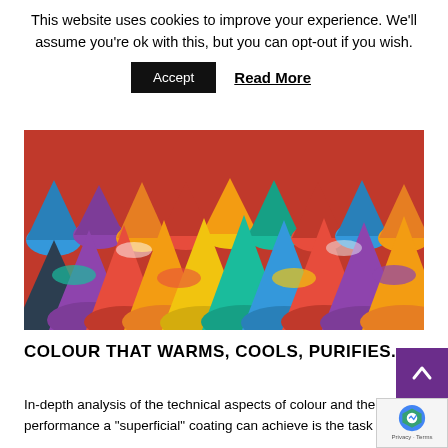This website uses cookies to improve your experience. We'll assume you're ok with this, but you can opt-out if you wish.
Accept   Read More
[Figure (photo): Colorful mounds/piles of powdered pigments or spices arranged in rows, showing a wide variety of vivid colors including red, blue, yellow, orange, green, purple, white and more.]
COLOUR THAT WARMS, COOLS, PURIFIES.
In-depth analysis of the technical aspects of colour and the performance a "superficial" coating can achieve is the task